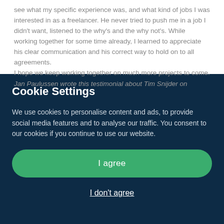see what my specific experience was, and what kind of jobs I was interested in as a freelancer. He never tried to push me in a job I didn't want, listened to the why's and the why not's. While working together for some time already, I learned to appreciate his clear communication and his correct way to hold on to all agreements.
I hope we keep working together on much more projects to come.
Jan Paulussen wrote this testimonial about Tim Snijder on
Cookie Settings
We use cookies to personalise content and ads, to provide social media features and to analyse our traffic. You consent to our cookies if you continue to use our website.
I agree
I don't agree